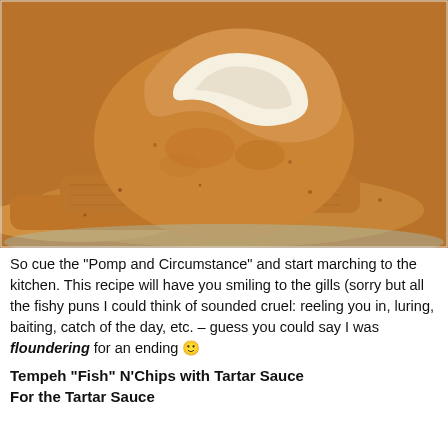[Figure (photo): Close-up photo of golden-brown fried tempeh fish pieces stacked on a plate, one piece broken open showing white interior, warm orange-brown tones throughout]
So cue the “Pomp and Circumstance” and start marching to the kitchen. This recipe will have you smiling to the gills (sorry but all the fishy puns I could think of sounded cruel: reeling you in, luring, baiting, catch of the day, etc. – guess you could say I was floundering for an ending 🙂
Tempeh “Fish” N’Chips with Tartar Sauce
For the Tartar Sauce